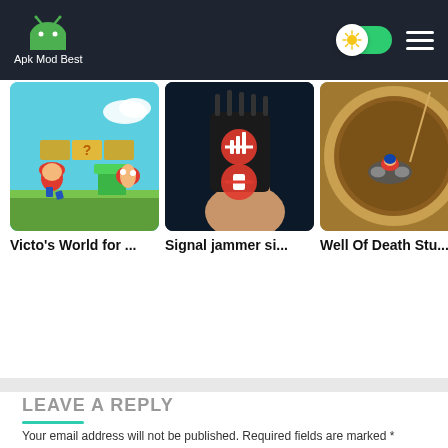Apk Mod Best
[Figure (screenshot): App card: Victo's World for ... - Mario-style platformer game screenshot]
Victo's World for ...
[Figure (screenshot): App card: Signal jammer si... - Hand holding signal jammer device]
Signal jammer si...
[Figure (screenshot): App card: Well Of Death Stu... - Motorcycle stunt game screenshot]
Well Of Death Stu...
LEAVE A REPLY
Your email address will not be published. Required fields are marked *
Comment *